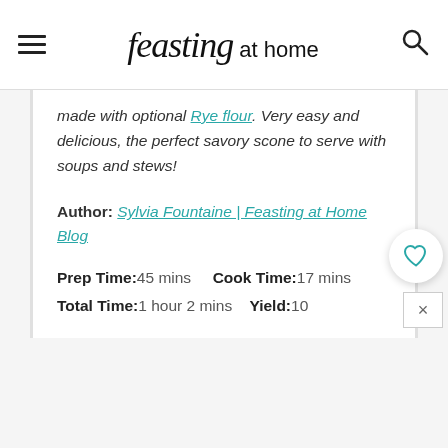feasting at home
made with optional Rye flour. Very easy and delicious, the perfect savory scone to serve with soups and stews!
Author: Sylvia Fountaine | Feasting at Home Blog
Prep Time: 45 mins   Cook Time: 17 mins   Total Time: 1 hour 2 mins   Yield: 10